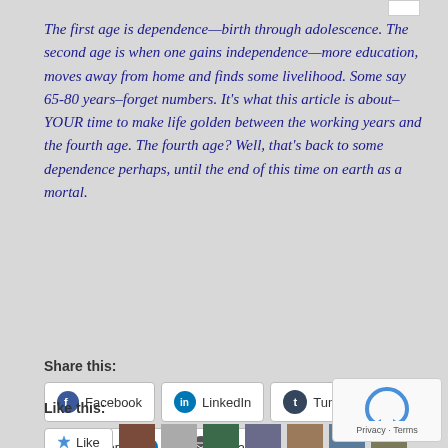The first age is dependence—birth through adolescence. The second age is when one gains independence—more education, moves away from home and finds some livelihood. Some say 65-80 years–forget numbers. It's what this article is about–YOUR time to make life golden between the working years and the fourth age. The fourth age? Well, that's back to some dependence perhaps, until the end of this time on earth as a mortal.
Share this:
Facebook  LinkedIn  Tumblr  Pinterest 1  Email
Like this:
Like
[Figure (other): reCAPTCHA privacy terms widget]